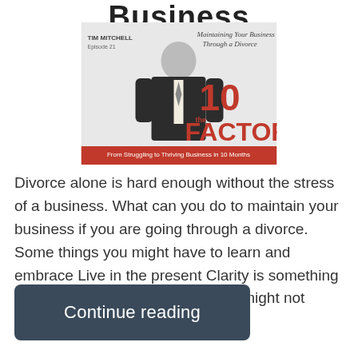Business
[Figure (illustration): Podcast cover image for '10 Factor' featuring Tim Mitchell, Episode 21. Title reads 'Maintaining Your Business Through a Divorce'. Subtitle: 'From Struggling to Thriving Business in 10 Months'. Shows a man in a suit with large red text '10 FACTOR'.]
Divorce alone is hard enough without the stress of a business. What can you do to maintain your business if you are going through a divorce. Some things you might have to learn and embrace Live in the present Clarity is something you might not have right now You might not know what is going […]
Continue reading